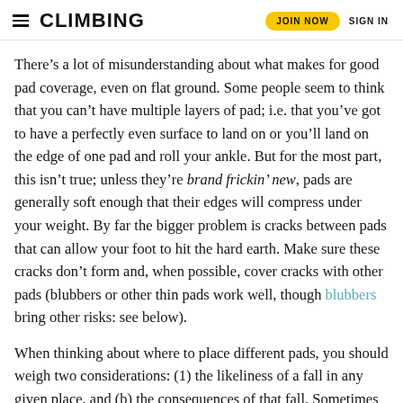CLIMBING  JOIN NOW  SIGN IN
There’s a lot of misunderstanding about what makes for good pad coverage, even on flat ground. Some people seem to think that you can’t have multiple layers of pad; i.e. that you’ve got to have a perfectly even surface to land on or you’ll land on the edge of one pad and roll your ankle. But for the most part, this isn’t true; unless they’re brand frickin’ new, pads are generally soft enough that their edges will compress under your weight. By far the bigger problem is cracks between pads that can allow your foot to hit the hard earth. Make sure these cracks don’t form and, when possible, cover cracks with other pads (blubbers or other thin pads work well, though blubbers bring other risks: see below).
When thinking about where to place different pads, you should weigh two considerations: (1) the likeliness of a fall in any given place, and (b) the consequences of that fall. Sometimes